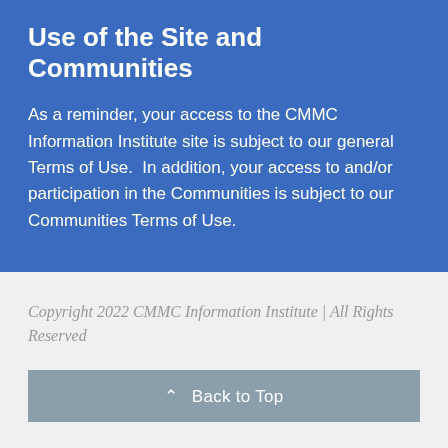Use of the Site and Communities
As a reminder, your access to the CMMC Information Institute site is subject to our general Terms of Use.  In addition, your access to and/or participation in the Communities is subject to our Communities Terms of Use.
Copyright 2022 CMMC Information Institute | All Rights Reserved
Back to Top